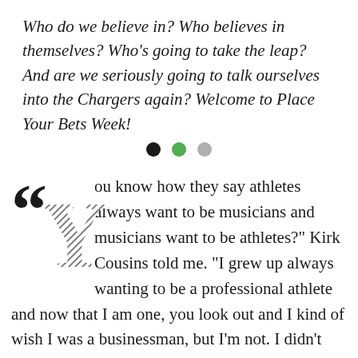Who do we believe in? Who believes in themselves? Who's going to take the leap? And are we seriously going to talk ourselves into the Chargers again? Welcome to Place Your Bets Week!
[Figure (other): Three navigation dots: black, green, gray]
"You know how they say athletes always want to be musicians and musicians want to be athletes?" Kirk Cousins told me. "I grew up always wanting to be a professional athlete and now that I am one, you look out and I kind of wish I was a businessman, but I'm not. I didn't study that in college. I look at